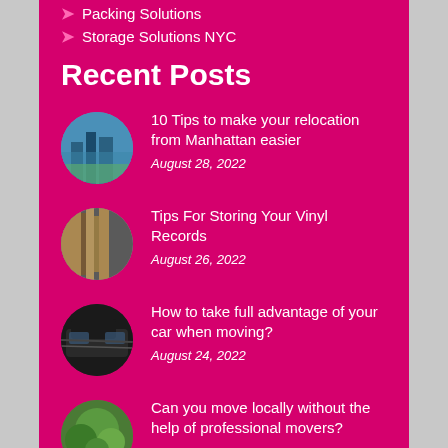Packing Solutions
Storage Solutions NYC
Recent Posts
10 Tips to make your relocation from Manhattan easier
August 28, 2022
Tips For Storing Your Vinyl Records
August 26, 2022
How to take full advantage of your car when moving?
August 24, 2022
Can you move locally without the help of professional movers?
August 22, 2022